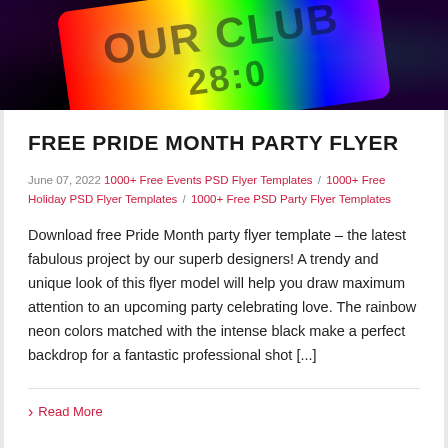[Figure (photo): A colorful rainbow neon party flyer card tilted diagonally on a dark background, showing text related to a club event.]
FREE PRIDE MONTH PARTY FLYER
June 07, 2022 1000+ Free Events PSD Flyer Templates / 1000+ Free Holiday PSD Flyer Templates / 1000+ Free PSD Party Flyer Templates
Download free Pride Month party flyer template – the latest fabulous project by our superb designers! A trendy and unique look of this flyer model will help you draw maximum attention to an upcoming party celebrating love. The rainbow neon colors matched with the intense black make a perfect backdrop for a fantastic professional shot [...]
> Read More